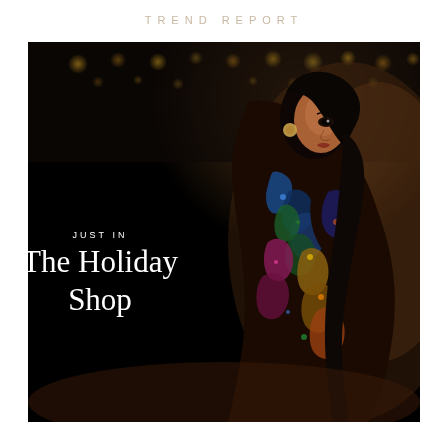TREND REPORT
[Figure (photo): Fashion editorial photo of a woman in a multicolored sequined dress, posed against a dark bokeh background with warm lights. Text overlay reads 'JUST IN / The Holiday Shop']